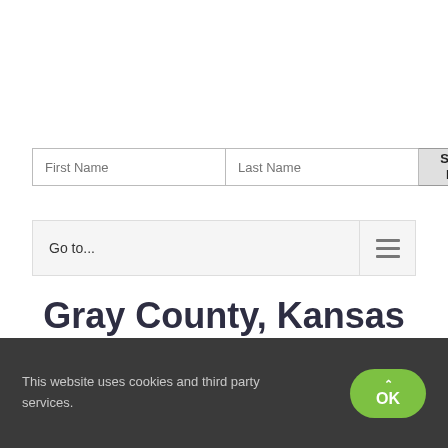[Figure (screenshot): Search form with First Name and Last Name text input fields and a Search Now! button]
[Figure (screenshot): Navigation bar with Go to... label and hamburger menu icon]
Gray County, Kansas Records
[Figure (screenshot): Partial search input box at bottom of page]
This website uses cookies and third party services.